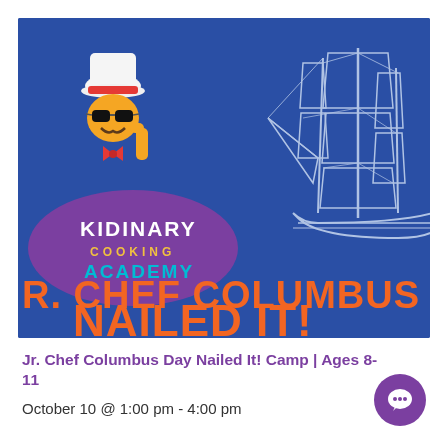[Figure (illustration): Kidinary Cooking Academy promotional banner on a dark blue background. Left side shows the Kidinary Cooking Academy logo with a cartoon chef character (a food mascot wearing sunglasses and a chef hat). Right side shows a white line-art illustration of a tall sailing ship. Large orange bold text reads 'R. CHEF COLUMBUS DA' on one line and 'NAILED IT!' on the next line.]
Jr. Chef Columbus Day Nailed It! Camp | Ages 8-11
October 10 @ 1:00 pm - 4:00 pm